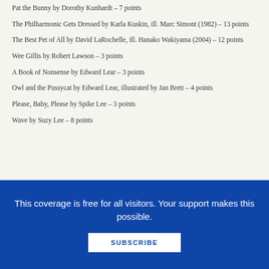Pat the Bunny by Dorothy Kunhardt – 7 points
The Philharmonic Gets Dressed by Karla Kuskin, ill. Marc Simont (1982)  – 13 points
The Best Pet of All by David LaRochelle, ill. Hanako Wakiyama (2004) – 12 points
Wee Gillis by Robert Lawson – 3 points
A Book of Nonsense by Edward Lear – 3 points
Owl and the Pussycat by Edward Lear, illustrated by Jan Brett – 4 points
Please, Baby, Please by Spike Lee – 3 points
Wave by Suzy Lee – 8 points
This coverage is free for all visitors. Your support makes this possible.
SUBSCRIBE